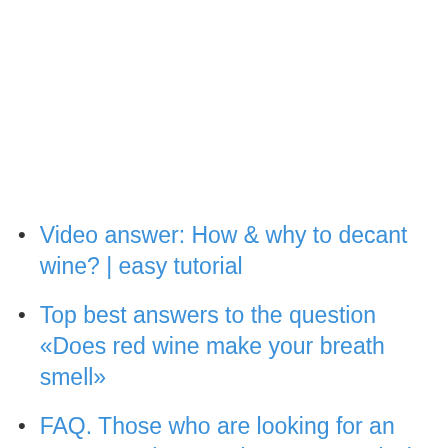Video answer: How & why to decant wine? | easy tutorial
Top best answers to the question «Does red wine make your breath smell»
FAQ. Those who are looking for an answer to the question «Does red wine make your breath smell?» often ask the following questions